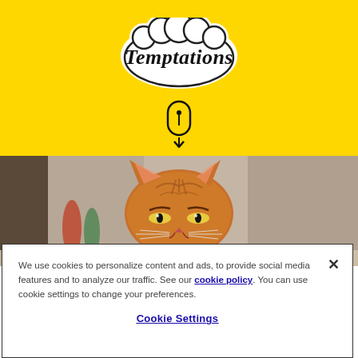[Figure (logo): Temptations cat treats logo — white cloud-shaped bubble with black outlined text 'Temptations' in italic serif font, on yellow background]
[Figure (illustration): Mouse scroll indicator icon — oval/pill shape with a small dot and downward arrow, indicating scroll down, on yellow background]
[Figure (photo): An orange tabby cat peeking over a surface with a grumpy expression, blurred kitchen background]
We use cookies to personalize content and ads, to provide social media features and to analyze our traffic. See our cookie policy. You can use cookie settings to change your preferences.
Cookie Settings